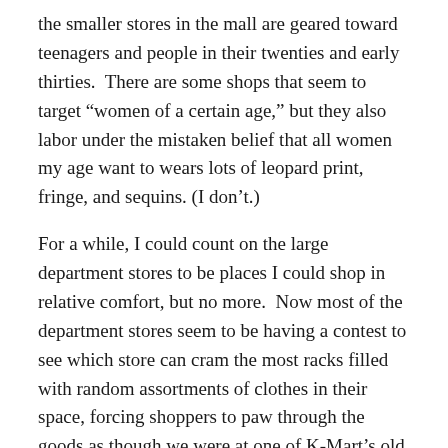the smaller stores in the mall are geared toward teenagers and people in their twenties and early thirties.  There are some shops that seem to target “women of a certain age,” but they also labor under the mistaken belief that all women my age want to wears lots of leopard print, fringe, and sequins. (I don’t.)
For a while, I could count on the large department stores to be places I could shop in relative comfort, but no more.  Now most of the department stores seem to be having a contest to see which store can cram the most racks filled with random assortments of clothes in their space, forcing shoppers to paw through the goods as though we were at one of K-Mart’s old “blue light specials.”  And even if I do find something that I want to try on, I have to first find an empty dressing room, remove the mound of clothes that someone also left in